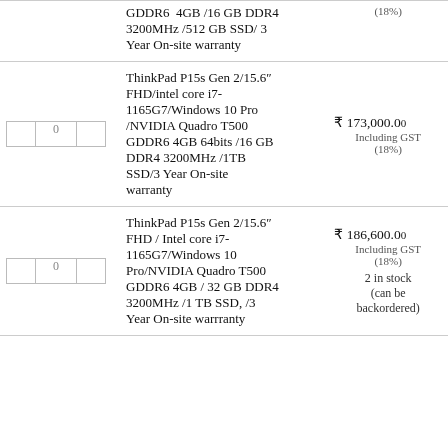| Qty | Description | Price |
| --- | --- | --- |
|  | GDDR6  4GB / 16 GB DDR4 3200MHz / 512 GB SSD/ 3 Year On-site warranty | (18%) |
| 0 | ThinkPad P15s Gen 2/15.6" FHD/intel core i7-1165G7/Windows 10 Pro /NVIDIA Quadro T500 GDDR6 4GB 64bits / 16 GB DDR4 3200MHz / 1TB SSD/ 3 Year On-site warranty | ₹ 173,000.00
Including GST
(18%) |
| 0 | ThinkPad P15s Gen 2/15.6" FHD / Intel core i7-1165G7/Windows 10 Pro/NVIDIA Quadro T500 GDDR6 4GB / 32 GB DDR4 3200MHz / 1 TB SSD, / 3 Year On-site warrranty | ₹ 186,600.00
Including GST
(18%)
2 in stock (can be backordered) |